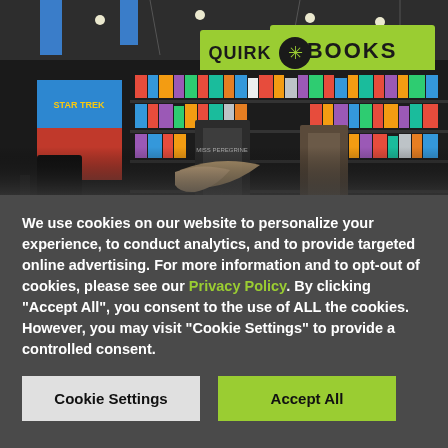[Figure (photo): Photograph of a Quirk Books trade show booth with yellow-green QUIRK BOOKS signage, bookshelves filled with books including Star Trek display, and books on stands in the foreground.]
We use cookies on our website to personalize your experience, to conduct analytics, and to provide targeted online advertising. For more information and to opt-out of cookies, please see our Privacy Policy. By clicking "Accept All", you consent to the use of ALL the cookies. However, you may visit "Cookie Settings" to provide a controlled consent.
Cookie Settings
Accept All